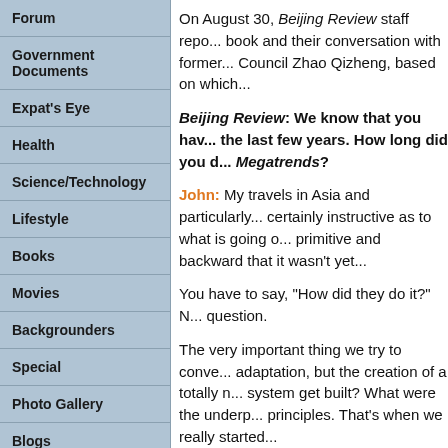Forum
Government Documents
Expat's Eye
Health
Science/Technology
Lifestyle
Books
Movies
Backgrounders
Special
Photo Gallery
Blogs
Reader's Service
Learning with 'Beijing Review'
E-mail us
On August 30, Beijing Review staff repo... book and their conversation with former... Council Zhao Qizheng, based on which...
Beijing Review: We know that you hav... the last few years. How long did you d... Megatrends?
John: My travels in Asia and particularly... certainly instructive as to what is going o... primitive and backward that it wasn't yet...
You have to say, "How did they do it?" N... question.
The very important thing we try to conve... adaptation, but the creation of a totally n... system get built? What were the underp... principles. That's when we really started...
Doris and I have been traveling together... institute got underway in 2007, which m... country. It is clear to me that, throughout...